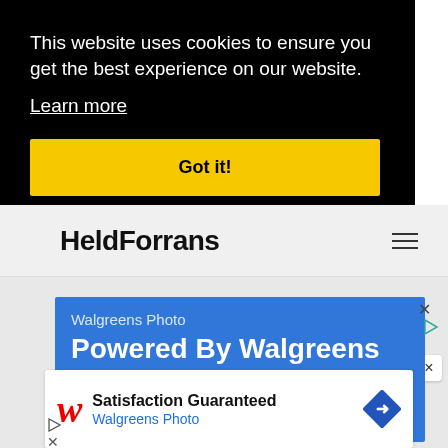This website uses cookies to ensure you get the best experience on our website.
Learn more
Got it!
HeldForrans
[Figure (screenshot): Walgreens Photo advertisement banner with blue background showing 'Walgreens Photo' subtitle and 'Powered By Walgreens' heading]
[Figure (screenshot): Walgreens ad card with red W logo, 'Satisfaction Guaranteed' text, 'Walgreens Photo' subtitle, and blue navigation diamond icon]